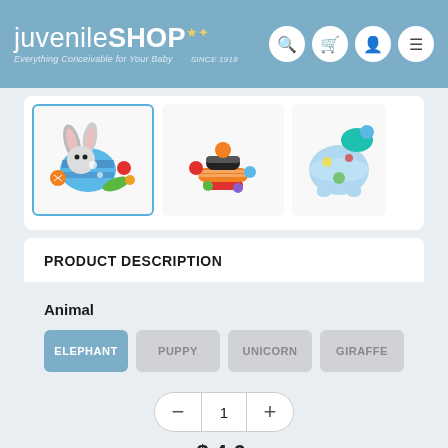[Figure (logo): JuvenileSHOP logo with tagline 'Everything Conceivable for Your Baby' and 'SINCE 1918']
[Figure (photo): Three product thumbnail images of colorful baby animal toys (elephant/bunny style)]
PRODUCT DESCRIPTION
Animal
ELEPHANT (selected)
PUPPY
UNICORN
GIRAFFE
1 (quantity)
$46.